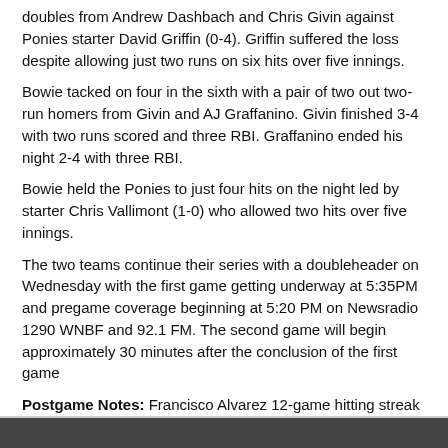doubles from Andrew Dashbach and Chris Givin against Ponies starter David Griffin (0-4). Griffin suffered the loss despite allowing just two runs on six hits over five innings.
Bowie tacked on four in the sixth with a pair of two out two-run homers from Givin and AJ Graffanino. Givin finished 3-4 with two runs scored and three RBI. Graffanino ended his night 2-4 with three RBI.
Bowie held the Ponies to just four hits on the night led by starter Chris Vallimont (1-0) who allowed two hits over five innings.
The two teams continue their series with a doubleheader on Wednesday with the first game getting underway at 5:35PM and pregame coverage beginning at 5:20 PM on Newsradio 1290 WNBF and 92.1 FM. The second game will begin approximately 30 minutes after the conclusion of the first game
Postgame Notes: Francisco Alvarez 12-game hitting streak was snapped as he went 0-3 with a walk...Brett Baty extended his hitting streak to six games with a single in the fourth inning.